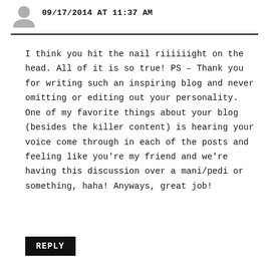[Figure (illustration): Small gray avatar/profile icon silhouette in top left corner]
09/17/2014 AT 11:37 AM
I think you hit the nail riiiiiight on the head. All of it is so true! PS – Thank you for writing such an inspiring blog and never omitting or editing out your personality. One of my favorite things about your blog (besides the killer content) is hearing your voice come through in each of the posts and feeling like you're my friend and we're having this discussion over a mani/pedi or something, haha! Anyways, great job!
REPLY